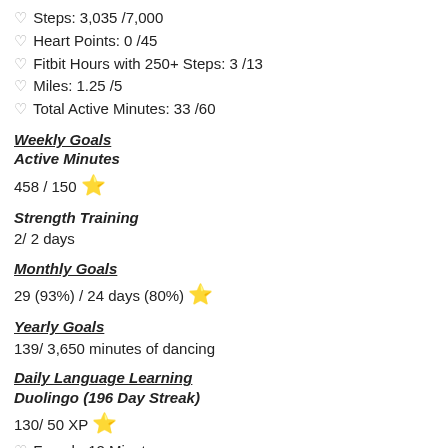♡ Steps: 3,035 /7,000
♡ Heart Points: 0 /45
♡ Fitbit Hours with 250+ Steps: 3 /13
♡ Miles: 1.25 /5
♡ Total Active Minutes: 33 /60
Weekly Goals
Active Minutes
458 / 150 ⭐
Strength Training
2/ 2 days
Monthly Goals
29 (93%) / 24 days (80%) ⭐
Yearly Goals
139/ 3,650 minutes of dancing
Daily Language Learning
Duolingo (196 Day Streak)
130/ 50 XP ⭐
♡ French: 12 Minutes
♡ Swedish: 5 Minutes
♡ Latin: 2 Minutes
Memrise